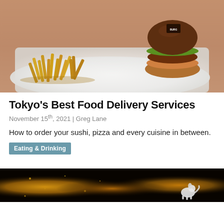[Figure (photo): A burger with fries on a white plate on a wooden table, photographed from above at an angle. The burger has a dark brioche bun with a label, lettuce, meat patty, and sauce. The fries are golden and piled on the left side of the plate.]
Tokyo's Best Food Delivery Services
November 15th, 2021 | Greg Lane
How to order your sushi, pizza and every cuisine in between.
Eating & Drinking
[Figure (photo): A dark, golden-toned interior scene, likely a restaurant or bar with warm golden light and decorative elements. A dog logo or mascot is visible on the right side.]